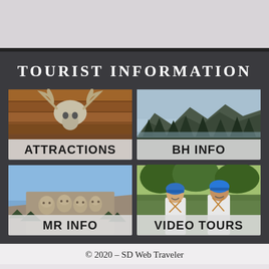TOURIST INFORMATION
[Figure (photo): Photo of animal skull/antlers on wooden ceiling with label ATTRACTIONS]
[Figure (photo): Photo of mountain lake scenery with label BH INFO]
[Figure (photo): Photo of Mount Rushmore with label MR INFO]
[Figure (photo): Photo of two people in blue helmets doing zipline/adventure tour with label VIDEO TOURS]
© 2020 - SD Web Traveler